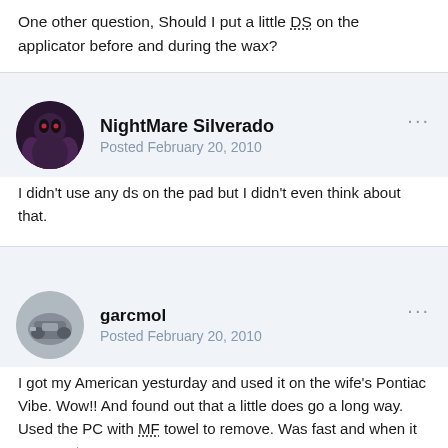One other question, Should I put a little DS on the applicator before and during the wax?
NightMare Silverado
Posted February 20, 2010
I didn't use any ds on the pad but I didn't even think about that.
garcmol
Posted February 20, 2010
I got my American yesturday and used it on the wife's Pontiac Vibe. Wow!! And found out that a little does go a long way. Used the PC with MF towel to remove. Was fast and when it came out